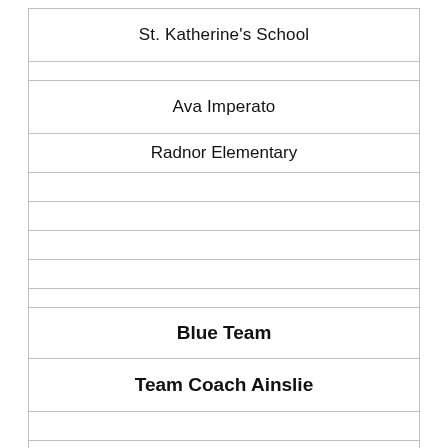| St. Katherine's School |
|  |
| Ava Imperato |
| Radnor Elementary |
|  |
|  |
|  |
|  |
|  |
| Blue Team |
| Team Coach Ainslie |
|  |
| Pink Team |
| Team Coach N... |